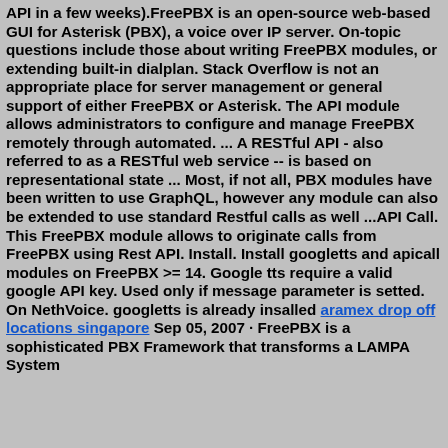API in a few weeks).FreePBX is an open-source web-based GUI for Asterisk (PBX), a voice over IP server. On-topic questions include those about writing FreePBX modules, or extending built-in dialplan. Stack Overflow is not an appropriate place for server management or general support of either FreePBX or Asterisk. The API module allows administrators to configure and manage FreePBX remotely through automated. ... A RESTful API - also referred to as a RESTful web service -- is based on representational state ... Most, if not all, PBX modules have been written to use GraphQL, however any module can also be extended to use standard Restful calls as well ...API Call. This FreePBX module allows to originate calls from FreePBX using Rest API. Install. Install googletts and apicall modules on FreePBX >= 14. Google tts require a valid google API key. Used only if message parameter is setted. On NethVoice. googletts is already insalled aramex drop off locations singapore Sep 05, 2007 · FreePBX is a sophisticated PBX Framework that transforms a LAMPA System